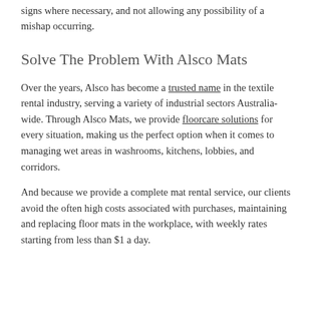signs where necessary, and not allowing any possibility of a mishap occurring.
Solve The Problem With Alsco Mats
Over the years, Alsco has become a trusted name in the textile rental industry, serving a variety of industrial sectors Australia-wide. Through Alsco Mats, we provide floorcare solutions for every situation, making us the perfect option when it comes to managing wet areas in washrooms, kitchens, lobbies, and corridors.
And because we provide a complete mat rental service, our clients avoid the often high costs associated with purchases, maintaining and replacing floor mats in the workplace, with weekly rates starting from less than $1 a day.